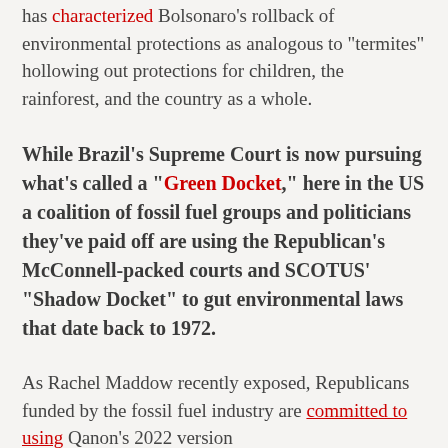has characterized Bolsonaro's rollback of environmental protections as analogous to "termites" hollowing out protections for children, the rainforest, and the country as a whole.
While Brazil's Supreme Court is now pursuing what's called a "Green Docket," here in the US a coalition of fossil fuel groups and politicians they've paid off are using the Republican's McConnell-packed courts and SCOTUS' "Shadow Docket" to gut environmental laws that date back to 1972.
As Rachel Maddow recently exposed, Republicans funded by the fossil fuel industry are committed to using Qanon's 2022 version